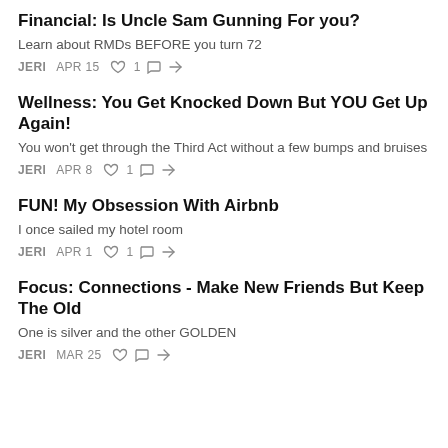Financial: Is Uncle Sam Gunning For you?
Learn about RMDs BEFORE you turn 72
JERI  APR 15  ♡ 1  ○  ↗
Wellness: You Get Knocked Down But YOU Get Up Again!
You won't get through the Third Act without a few bumps and bruises
JERI  APR 8  ♡ 1  ○  ↗
FUN! My Obsession With Airbnb
I once sailed my hotel room
JERI  APR 1  ♡ 1  ○  ↗
Focus: Connections - Make New Friends But Keep The Old
One is silver and the other GOLDEN
JERI  MAR 25  ♡  ○  ↗